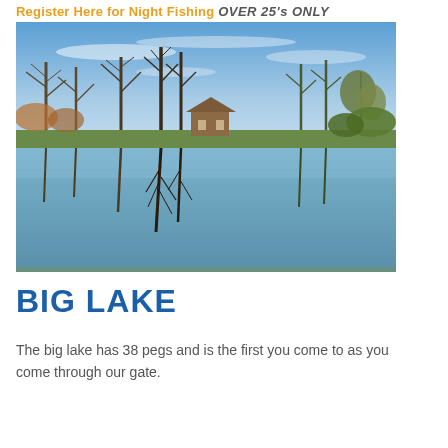Register Here for Night Fishing OVER 25's ONLY
[Figure (photo): A calm fishing lake reflecting bare winter trees and a small building on the far bank, under a blue sky with light clouds.]
BIG LAKE
The big lake has 38 pegs and is the first you come to as you come through our gate.